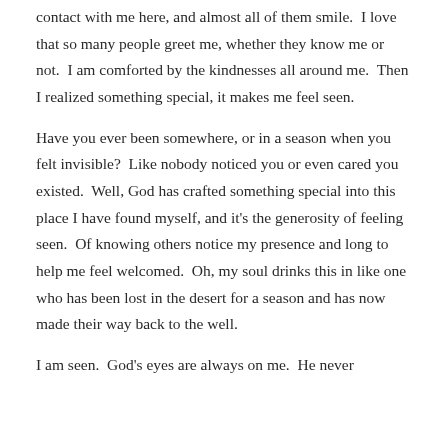contact with me here, and almost all of them smile.  I love that so many people greet me, whether they know me or not.  I am comforted by the kindnesses all around me.  Then I realized something special, it makes me feel seen.
Have you ever been somewhere, or in a season when you felt invisible?  Like nobody noticed you or even cared you existed.  Well, God has crafted something special into this place I have found myself, and it's the generosity of feeling seen.  Of knowing others notice my presence and long to help me feel welcomed.  Oh, my soul drinks this in like one who has been lost in the desert for a season and has now made their way back to the well.
I am seen.  God's eyes are always on me.  He never